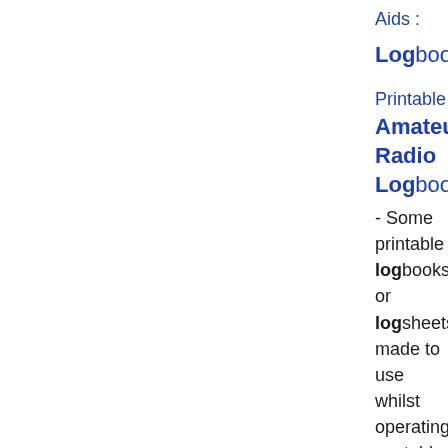Aids :
Logbook
Printable Amateur Radio Logbooks - Some printable logbooks or logsheets, made to use whilst operating portable. Download free PDF files in landscape